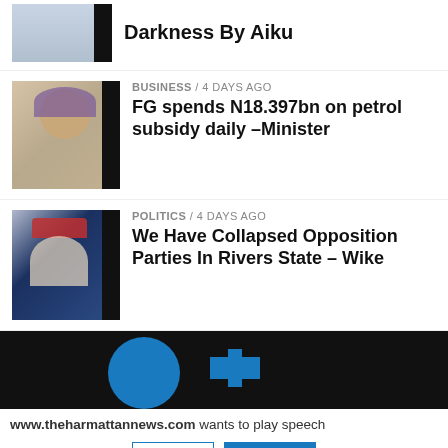[Figure (photo): Partial photo of a person in light blue attire, cropped at top]
Darkness By Aiku
BUSINESS / 4 days ago
[Figure (photo): Photo of a woman wearing a purple headscarf and glasses at a microphone]
FG spends N18.397bn on petrol subsidy daily –Minister
POLITICS / 4 days ago
[Figure (photo): Photo of a man in a red cap and white attire seated at a table with microphones]
We Have Collapsed Opposition Parties In Rivers State – Wike
[Figure (logo): Dark footer with blue circular logo and small blue rectangular logo element]
www.theharmattannews.com wants to play speech
DENY   ALLOW
[Figure (infographic): Social media sharing buttons: Facebook, Twitter, LinkedIn, Link, WhatsApp]